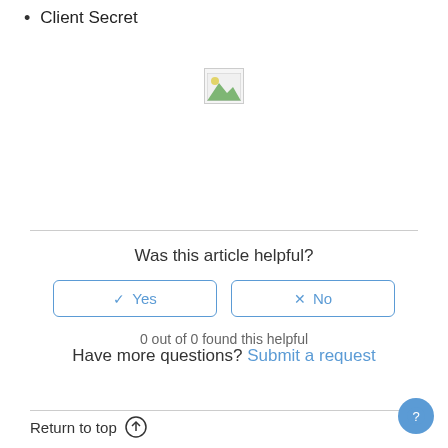Client Secret
[Figure (illustration): Broken/missing image placeholder icon]
Was this article helpful?
Yes | No (vote buttons)
0 out of 0 found this helpful
Have more questions? Submit a request
Return to top ↑